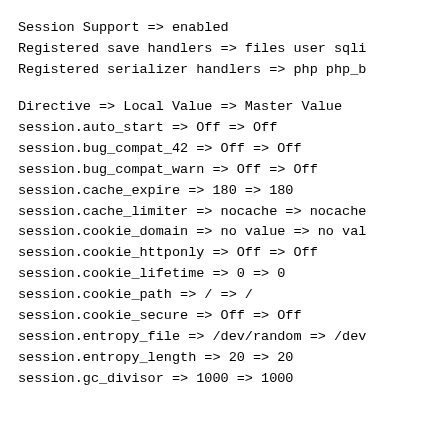Session Support => enabled
Registered save handlers => files user sqli
Registered serializer handlers => php php_b
Directive => Local Value => Master Value
session.auto_start => Off => Off
session.bug_compat_42 => Off => Off
session.bug_compat_warn => Off => Off
session.cache_expire => 180 => 180
session.cache_limiter => nocache => nocache
session.cookie_domain => no value => no val
session.cookie_httponly => Off => Off
session.cookie_lifetime => 0 => 0
session.cookie_path => / => /
session.cookie_secure => Off => Off
session.entropy_file => /dev/random => /dev
session.entropy_length => 20 => 20
session.gc_divisor => 1000 => 1000